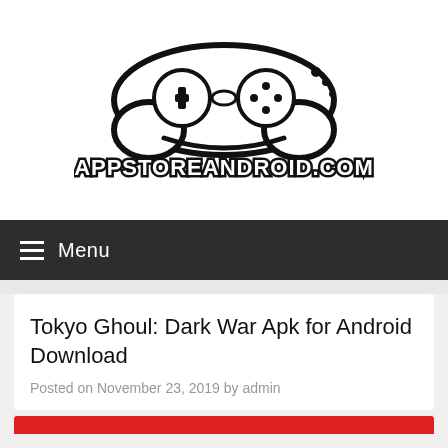[Figure (logo): AppStoreAndroid.com logo with game controller icon and bold text]
≡ Menu
Tokyo Ghoul: Dark War Apk for Android Download
Posted on November 23, 2019 by admin